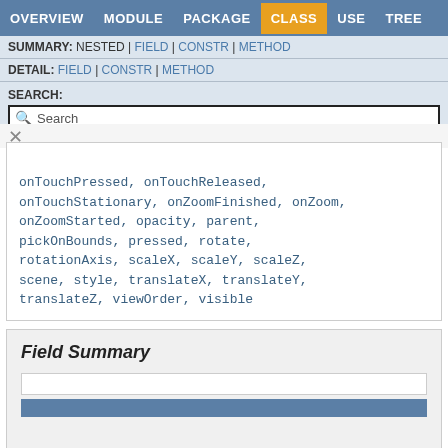OVERVIEW  MODULE  PACKAGE  CLASS  USE  TREE
SUMMARY: NESTED | FIELD | CONSTR | METHOD
DETAIL: FIELD | CONSTR | METHOD
SEARCH:
Search
onTouchPressed, onTouchReleased, onTouchStationary, onZoomFinished, onZoom, onZoomStarted, opacity, parent, pickOnBounds, pressed, rotate, rotationAxis, scaleX, scaleY, scaleZ, scene, style, translateX, translateY, translateZ, viewOrder, visible
Field Summary